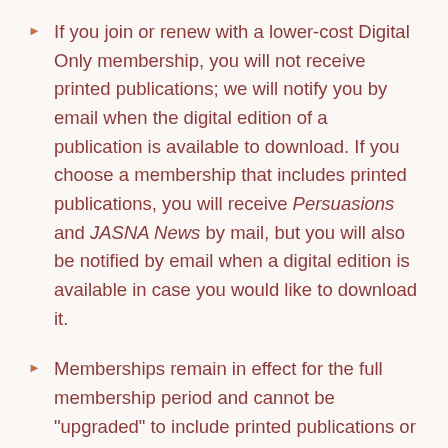If you join or renew with a lower-cost Digital Only membership, you will not receive printed publications; we will notify you by email when the digital edition of a publication is available to download. If you choose a membership that includes printed publications, you will receive Persuasions and JASNA News by mail, but you will also be notified by email when a digital edition is available in case you would like to download it.
Memberships remain in effect for the full membership period and cannot be "upgraded" to include printed publications or changed to "digital only" during that